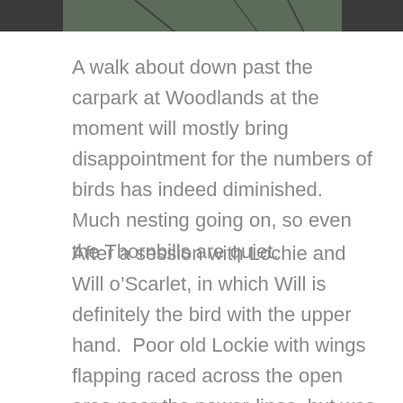[Figure (photo): Partial photograph of a bird perched on a branch, cropped at top of page]
A walk about down past the carpark at Woodlands at the moment will mostly bring disappointment for the numbers of birds has indeed diminished.  Much nesting going on, so even the Thornbills are quiet.
After a session with Lochie and Will o'Scarlet, in which Will is definitely the bird with the upper hand.  Poor old Lockie with wings flapping raced across the open area near the power-lines, but was mowed down by the speed of the Scarlet Robin. Still he is not taking it lying down. He managed to feed...